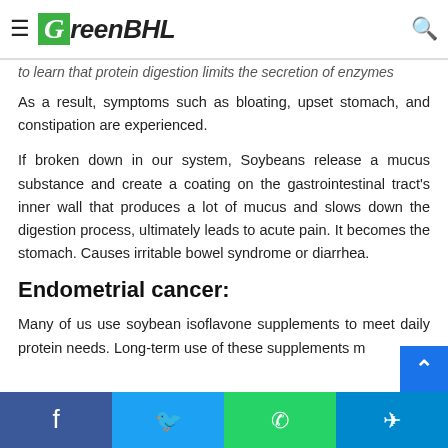Soybean causes digestive problems!
[Figure (logo): GreenBHL logo with green background G and tree icon]
to learn that protein digestion limits the secretion of enzymes
As a result, symptoms such as bloating, upset stomach, and constipation are experienced.
If broken down in our system, Soybeans release a mucus substance and create a coating on the gastrointestinal tract's inner wall that produces a lot of mucus and slows down the digestion process, ultimately leads to acute pain. It becomes the stomach. Causes irritable bowel syndrome or diarrhea.
Endometrial cancer:
Many of us use soybean isoflavone supplements to meet daily protein needs. Long-term use of these supplements may